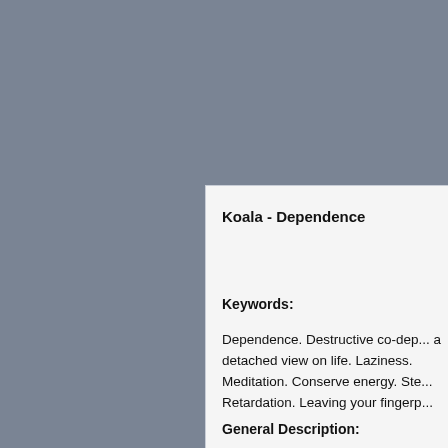Koala - Dependence
Keywords:
Dependence. Destructive co-dependence. Having a detached view on life. Laziness. Meditation. Conserve energy. Steadfastness. Retardation. Leaving your fingerp...
General Description: